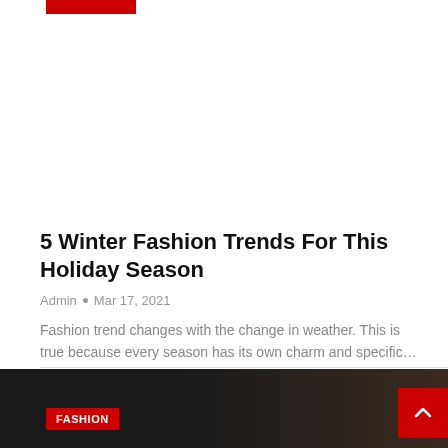[Figure (photo): Top image area with a red label bar, mostly white/blank image area]
5 Winter Fashion Trends For This Holiday Season
Admin  •  Mar 17, 2021
Fashion trend changes with the change in weather. This is true because every season has its own charm and specific…
[Figure (photo): Bottom dark image area with FASHION badge in red and a scroll-to-top button in red on the right]